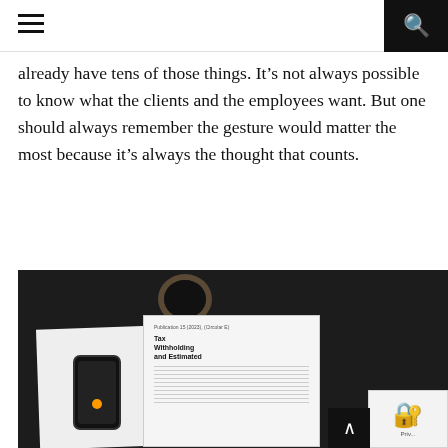[hamburger menu] [search icon]
already have tens of those things. It’s not always possible to know what the clients and the employees want. But one should always remember the gesture would matter the most because it’s always the thought that counts.
[Figure (photo): Overhead flat-lay photo on a dark desk showing: a coffee mug filled with black coffee, an open notebook/planner, a Tax Withholding and Estimated tax booklet, a smartphone (black), a pen, sticky notes, and various documents/papers.]